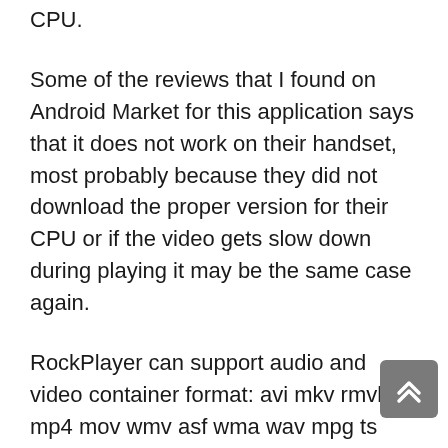CPU.
Some of the reviews that I found on Android Market for this application says that it does not work on their handset, most probably because they did not download the proper version for their CPU or if the video gets slow down during playing it may be the same case again.
RockPlayer can support audio and video container format: avi mkv rmvb mp4 mov wmv asf wma wav mpg ts mpa dvd au mp3 mid ivf aiff ogm ogg cda flic d2v aac roq flac drc dsm swf pls pmp.Audio and video encoding format AAC AC3 DTS FLV4 LPCM ALAW ULAW MPEG Audio MPEG-1 MPEG-2 RealVideo RealAudio Motion JPEG H.264 XVID DIVX...